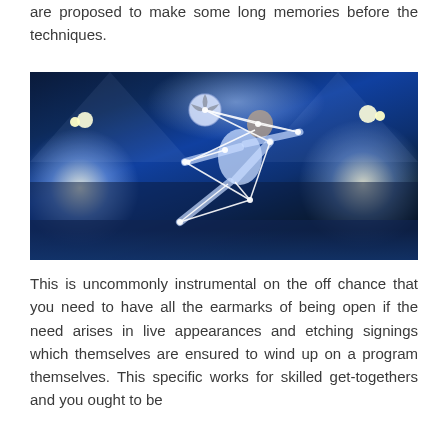are proposed to make some long memories before the techniques.
[Figure (photo): A soccer player performing a bicycle kick at night in a stadium with bright lights, overlaid with geometric white lines connecting body joint positions.]
This is uncommonly instrumental on the off chance that you need to have all the earmarks of being open if the need arises in live appearances and etching signings which themselves are ensured to wind up on a program themselves. This specific works for skilled get-togethers and you ought to be